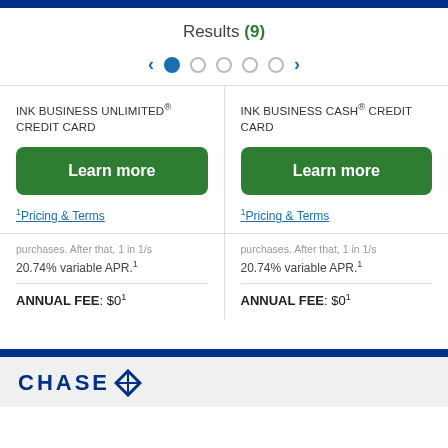Results (9)
[Figure (other): Pagination dots: left arrow, filled blue dot (active), 4 empty dots, right arrow]
INK BUSINESS UNLIMITED® CREDIT CARD
Learn more
1Pricing & Terms
INK BUSINESS CASH® CREDIT CARD
Learn more
1Pricing & Terms
purchases. After that, 1 in 1/s 20.74% variable APR.1
purchases. After that, 1 in 1/s 20.74% variable APR.1
ANNUAL FEE: $01
ANNUAL FEE: $01
CHASE